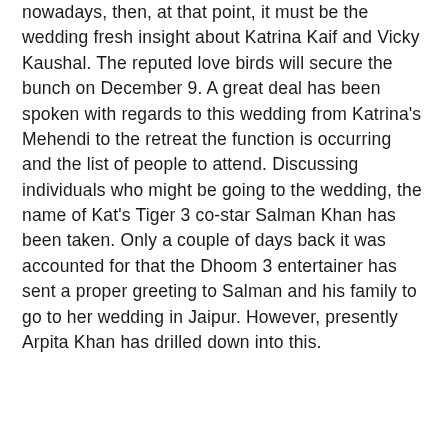nowadays, then, at that point, it must be the wedding fresh insight about Katrina Kaif and Vicky Kaushal. The reputed love birds will secure the bunch on December 9. A great deal has been spoken with regards to this wedding from Katrina's Mehendi to the retreat the function is occurring and the list of people to attend. Discussing individuals who might be going to the wedding, the name of Kat's Tiger 3 co-star Salman Khan has been taken. Only a couple of days back it was accounted for that the Dhoom 3 entertainer has sent a proper greeting to Salman and his family to go to her wedding in Jaipur. However, presently Arpita Khan has drilled down into this.